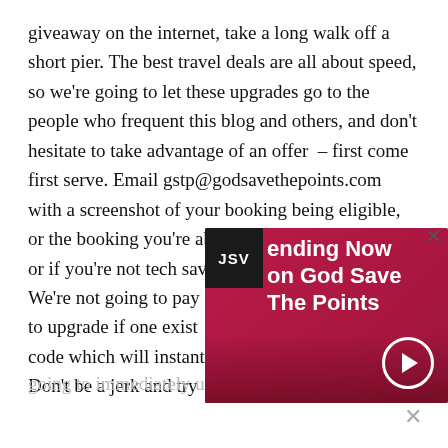giveaway on the internet, take a long walk off a short pier. The best travel deals are all about speed, so we're going to let these upgrades go to the people who frequent this blog and others, and don't hesitate to take advantage of an offer – first come first serve. Email gstp@godsavethepoints.com with a screenshot of your booking being eligible, or the booking you're about to make being eligible, or if you're not tech savvy, e… We're not going to pay… to upgrade if one exist… code which will instant… Don't be a jerk and try…
[Figure (other): Promotional video overlay banner for 'God Save The Points' with JSV badge, pink/red background with text 'ending Now on God Save The Points' and a play button circle icon]
going to immediately use it.